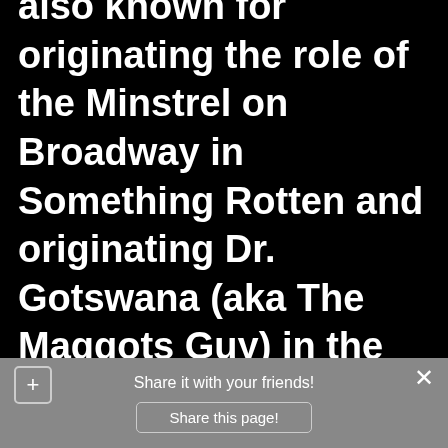also known for originating the role of the Minstrel on Broadway in Something Rotten and originating Dr. Gotswana (aka The Maggots Guy) in the Tony winning phenomenon The Book of Mormon. Other Broadway credits include Mamma Mia, Tarzan, All Shook Up, The Pirate Queen, Elf
Share it with your friends!
Share this page!